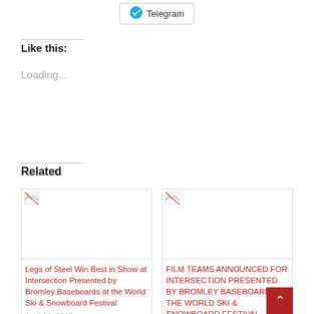[Figure (other): Telegram share button with Telegram logo icon]
Like this:
Loading...
Related
[Figure (photo): Broken image placeholder for related article: Legs of Steel Win Best in Show at Intersection Presented by Bromley Baseboards at the World Ski & Snowboard Festival]
Legs of Steel Win Best in Show at Intersection Presented by Bromley Baseboards at the World Ski & Snowboard Festival
April 18, 2015
[Figure (photo): Broken image placeholder for related article: FILM TEAMS ANNOUNCED FOR INTERSECTION PRESENTED BY BROMLEY BASEBOARDS AT THE WORLD SKI & SNOWBOARD FESTIVAL]
FILM TEAMS ANNOUNCED FOR INTERSECTION PRESENTED BY BROMLEY BASEBOARDS AT THE WORLD SKI & SNOWBOARD FESTIVAL
April 7, 2015